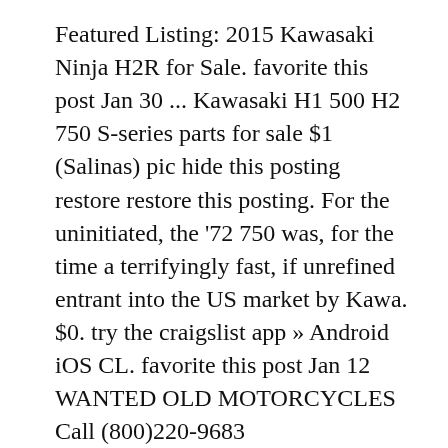Featured Listing: 2015 Kawasaki Ninja H2R for Sale. favorite this post Jan 30 ... Kawasaki H1 500 H2 750 S-series parts for sale $1 (Salinas) pic hide this posting restore restore this posting. For the uninitiated, the '72 750 was, for the time a terrifyingly fast, if unrefined entrant into the US market by Kawa. $0. try the craigslist app » Android iOS CL. favorite this post Jan 12 WANTED OLD MOTORCYCLES Call (800)220-9683 www.wantedoldmotorcycles.com $9,999 (CALL NOW (800)220-9683 Website: www.wantedoldmotorcycles.com) pic hide this posting restore restore this posting UTV-Beating 2021 Daihatsu Hijet Farming & Jumbo Minitrucks From $18,400! ... 2015 Kawasaki